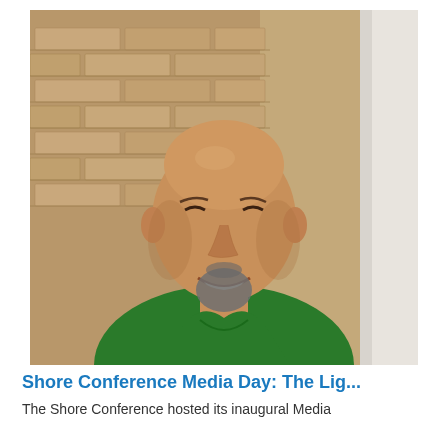[Figure (photo): A bald man with a goatee, smiling, wearing a green polo shirt, standing in front of a tan brick wall with a white door frame visible on the right.]
Shore Conference Media Day: The Lig...
The Shore Conference hosted its inaugural Media